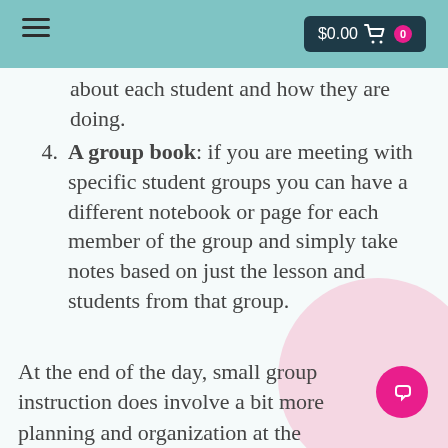$0.00 0
about each student and how they are doing.
A group book: if you are meeting with specific student groups you can have a different notebook or page for each member of the group and simply take notes based on just the lesson and students from that group.
At the end of the day, small group instruction does involve a bit more planning and organization at the